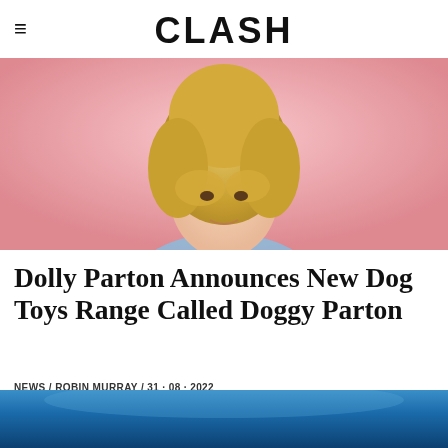CLASH
[Figure (photo): Photo of Dolly Parton against a pink background, showing her from the shoulders up with her signature blonde updo hairstyle]
Dolly Parton Announces New Dog Toys Range Called Doggy Parton
NEWS / ROBIN MURRAY / 31 · 08 · 2022
[Figure (photo): Partial image visible at bottom of page with blue gradient background]